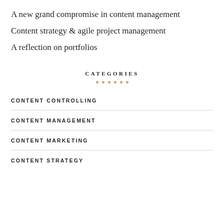A new grand compromise in content management
Content strategy & agile project management
A reflection on portfolios
CATEGORIES
CONTENT CONTROLLING
CONTENT MANAGEMENT
CONTENT MARKETING
CONTENT STRATEGY